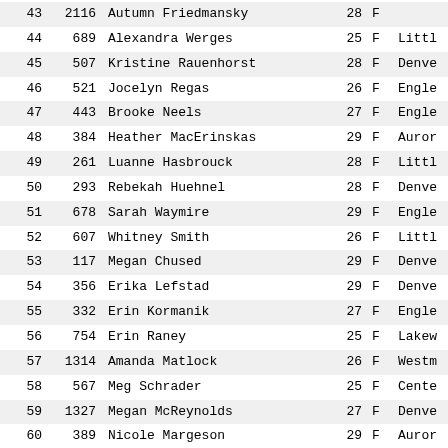| Rank | Bib | Name | Age | Sex | City |
| --- | --- | --- | --- | --- | --- |
| 43 | 2116 | Autumn Friedmansky | 28 | F |  |
| 44 | 689 | Alexandra Werges | 25 | F | Littl… |
| 45 | 507 | Kristine Rauenhorst | 28 | F | Denve… |
| 46 | 521 | Jocelyn Regas | 26 | F | Engle… |
| 47 | 443 | Brooke Neels | 27 | F | Engle… |
| 48 | 384 | Heather MacErinskas | 29 | F | Auror… |
| 49 | 261 | Luanne Hasbrouck | 28 | F | Littl… |
| 50 | 293 | Rebekah Huehnel | 28 | F | Denve… |
| 51 | 678 | Sarah Waymire | 29 | F | Engle… |
| 52 | 607 | Whitney Smith | 26 | F | Littl… |
| 53 | 117 | Megan Chused | 29 | F | Denve… |
| 54 | 356 | Erika Lefstad | 29 | F | Denve… |
| 55 | 332 | Erin Kormanik | 27 | F | Engle… |
| 56 | 754 | Erin Raney | 25 | F | Lakew… |
| 57 | 1314 | Amanda Matlock | 26 | F | Westm… |
| 58 | 567 | Meg Schrader | 25 | F | Cente… |
| 59 | 1327 | Megan McReynolds | 27 | F | Denve… |
| 60 | 389 | Nicole Margeson | 29 | F | Auror… |
| 61 | … | … | … | F | … |